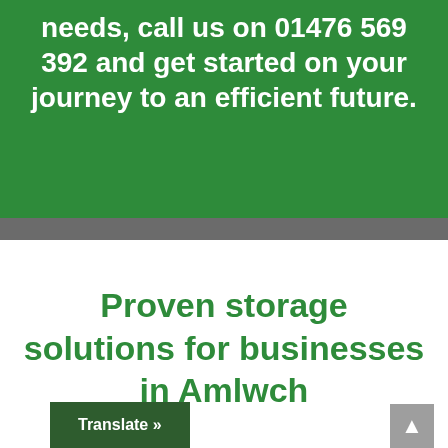needs, call us on 01476 569 392 and get started on your journey to an efficient future.
Proven storage solutions for businesses in Amlwch
Translate »